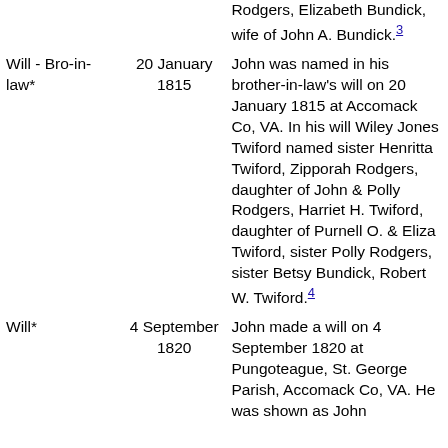| Event | Date | Description |
| --- | --- | --- |
|  |  | Rodgers, Elizabeth Bundick, wife of John A. Bundick.³ |
| Will - Bro-in-law* | 20 January 1815 | John was named in his brother-in-law's will on 20 January 1815 at Accomack Co, VA. In his will Wiley Jones Twiford named sister Henritta Twiford, Zipporah Rodgers, daughter of John & Polly Rodgers, Harriet H. Twiford, daughter of Purnell O. & Eliza Twiford, sister Polly Rodgers, sister Betsy Bundick, Robert W. Twiford.⁴ |
| Will* | 4 September 1820 | John made a will on 4 September 1820 at Pungoteague, St. George Parish, Accomack Co, VA. He was shown as John |